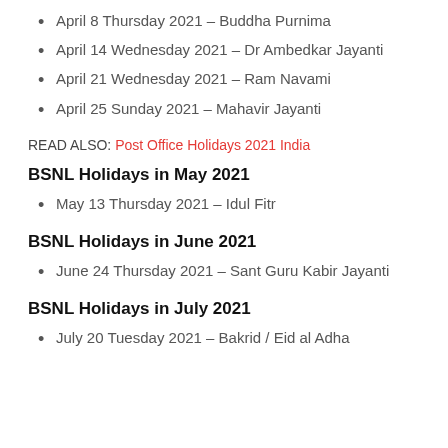April 8 Thursday 2021 – Buddha Purnima
April 14 Wednesday 2021 – Dr Ambedkar Jayanti
April 21 Wednesday 2021 – Ram Navami
April 25 Sunday 2021 – Mahavir Jayanti
READ ALSO: Post Office Holidays 2021 India
BSNL Holidays in May 2021
May 13 Thursday 2021 – Idul Fitr
BSNL Holidays in June 2021
June 24 Thursday 2021 – Sant Guru Kabir Jayanti
BSNL Holidays in July 2021
July 20 Tuesday 2021 – Bakrid / Eid al Adha